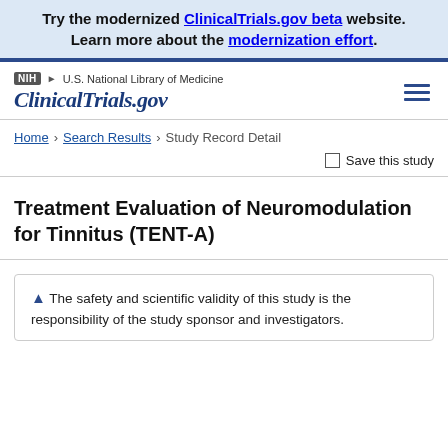Try the modernized ClinicalTrials.gov beta website. Learn more about the modernization effort.
NIH U.S. National Library of Medicine ClinicalTrials.gov
Home > Search Results > Study Record Detail
Save this study
Treatment Evaluation of Neuromodulation for Tinnitus (TENT-A)
The safety and scientific validity of this study is the responsibility of the study sponsor and investigators. Listing a study does not mean it has been evaluated by the U.S. Federal Government.